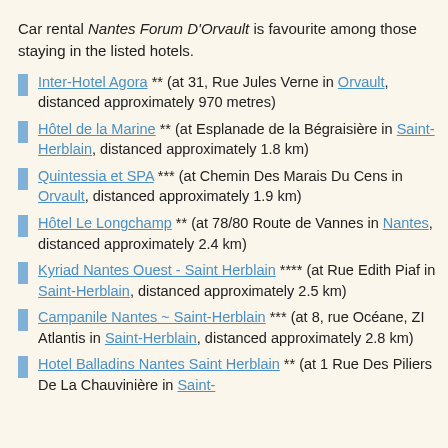Car rental Nantes Forum D'Orvault is favourite among those staying in the listed hotels.
Inter-Hotel Agora ** (at 31, Rue Jules Verne in Orvault, distanced approximately 970 metres)
Hôtel de la Marine ** (at Esplanade de la Bégraisière in Saint-Herblain, distanced approximately 1.8 km)
Quintessia et SPA *** (at Chemin Des Marais Du Cens in Orvault, distanced approximately 1.9 km)
Hôtel Le Longchamp ** (at 78/80 Route de Vannes in Nantes, distanced approximately 2.4 km)
Kyriad Nantes Ouest - Saint Herblain **** (at Rue Edith Piaf in Saint-Herblain, distanced approximately 2.5 km)
Campanile Nantes ~ Saint-Herblain *** (at 8, rue Océane, ZI Atlantis in Saint-Herblain, distanced approximately 2.8 km)
Hotel Balladins Nantes Saint Herblain ** (at 1 Rue Des Piliers De La Chauvinière in Saint-Herblain, distanced approximately 3.0 km)